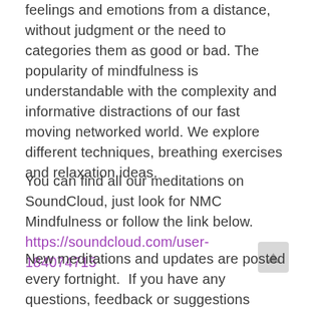feelings and emotions from a distance, without judgment or the need to categories them as good or bad. The popularity of mindfulness is understandable with the complexity and informative distractions of our fast moving networked world. We explore different techniques, breathing exercises and relaxation ideas.
You can find all our meditations on SoundCloud, just look for NMC Mindfulness or follow the link below. https://soundcloud.com/user-184074715
New meditations and updates are posted every fortnight.  If you have any questions, feedback or suggestions please email kay.briggs@nmcentre.com. CD's are